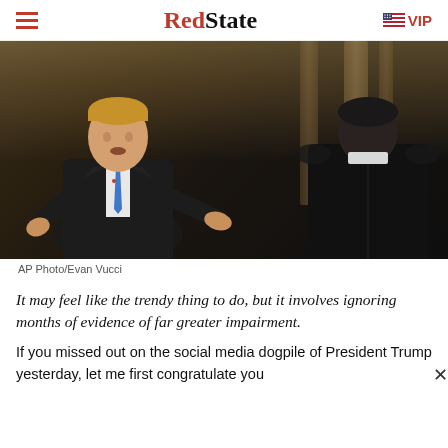RedState | VIP
[Figure (photo): President Trump in dark suit and blue tie gestures with both hands while speaking, seated across from an interviewer shown from behind, in a formal setting with columns in background. AP Photo/Evan Vucci]
AP Photo/Evan Vucci
It may feel like the trendy thing to do, but it involves ignoring months of evidence of far greater impairment.
If you missed out on the social media dogpile of President Trump yesterday, let me first congratulate you